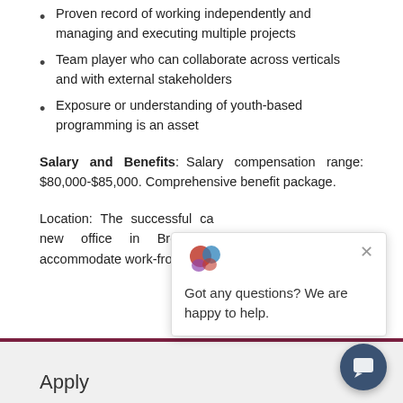Proven record of working independently and managing and executing multiple projects
Team player who can collaborate across verticals and with external stakeholders
Exposure or understanding of youth-based programming is an asset
Salary and Benefits: Salary compensation range: $80,000-$85,000. Comprehensive benefit package.
Location: The successful ca... new office in Brooklyn on... accommodate work-from-h...
[Figure (screenshot): Chat popup overlay with logo and text 'Got any questions? We are happy to help.' and a close button]
Apply